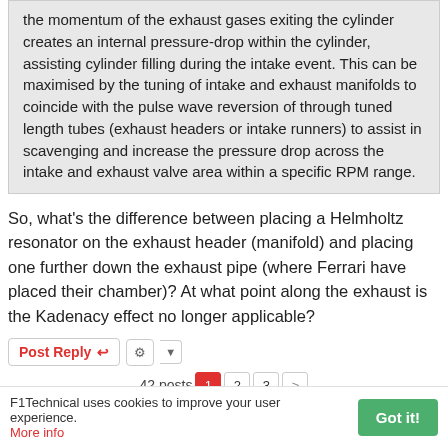the momentum of the exhaust gases exiting the cylinder creates an internal pressure-drop within the cylinder, assisting cylinder filling during the intake event. This can be maximised by the tuning of intake and exhaust manifolds to coincide with the pulse wave reversion of through tuned length tubes (exhaust headers or intake runners) to assist in scavenging and increase the pressure drop across the intake and exhaust valve area within a specific RPM range.
So, what's the difference between placing a Helmholtz resonator on the exhaust header (manifold) and placing one further down the exhaust pipe (where Ferrari have placed their chamber)? At what point along the exhaust is the Kadenacy effect no longer applicable?
Post Reply | tool | dropdown
42 posts  1  2  3  >
F1Technical uses cookies to improve your user experience. More info   Got it!